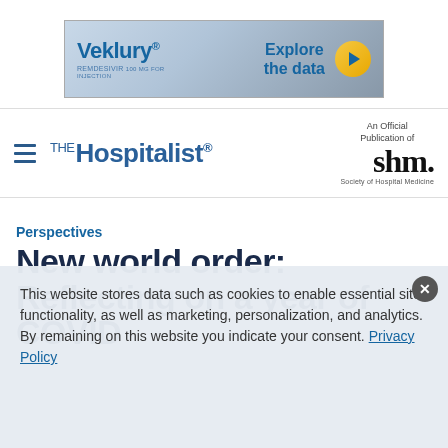[Figure (infographic): Veklury (remdesivir) advertisement banner with 'Explore the data' call to action and gold arrow circle button]
The Hospitalist — An Official Publication of SHM Society of Hospital Medicine
Perspectives
New world order: Reflecting on a year of COVID
This website stores data such as cookies to enable essential site functionality, as well as marketing, personalization, and analytics. By remaining on this website you indicate your consent. Privacy Policy